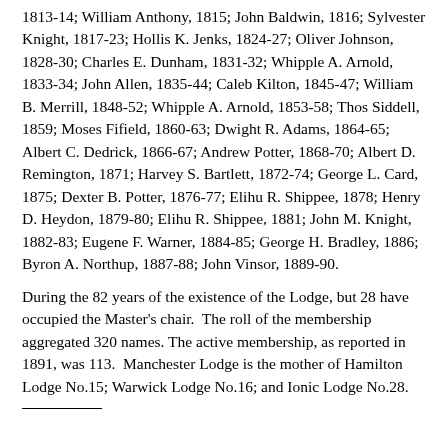1813-14; William Anthony, 1815; John Baldwin, 1816; Sylvester Knight, 1817-23; Hollis K. Jenks, 1824-27; Oliver Johnson, 1828-30; Charles E. Dunham, 1831-32; Whipple A. Arnold, 1833-34; John Allen, 1835-44; Caleb Kilton, 1845-47; William B. Merrill, 1848-52; Whipple A. Arnold, 1853-58; Thos Siddell, 1859; Moses Fifield, 1860-63; Dwight R. Adams, 1864-65; Albert C. Dedrick, 1866-67; Andrew Potter, 1868-70; Albert D. Remington, 1871; Harvey S. Bartlett, 1872-74; George L. Card, 1875; Dexter B. Potter, 1876-77; Elihu R. Shippee, 1878; Henry D. Heydon, 1879-80; Elihu R. Shippee, 1881; John M. Knight, 1882-83; Eugene F. Warner, 1884-85; George H. Bradley, 1886; Byron A. Northup, 1887-88; John Vinsor, 1889-90.
During the 82 years of the existence of the Lodge, but 28 have occupied the Master's chair.  The roll of the membership aggregated 320 names. The active membership, as reported in 1891, was 113.  Manchester Lodge is the mother of Hamilton Lodge No.15; Warwick Lodge No.16; and Ionic Lodge No.28.